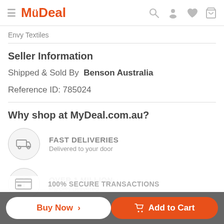MyDeal
Envy Textiles
Seller Information
Shipped & Sold By  Benson Australia
Reference ID: 785024
Why shop at MyDeal.com.au?
FAST DELIVERIES
Delivered to your door
OVER 1 MILLION
Parcels delivered
100% SECURE TRANSACTIONS